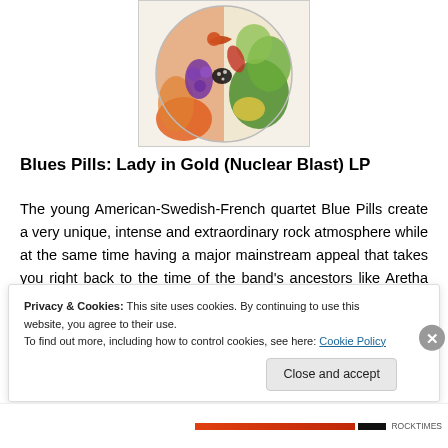[Figure (illustration): Circular album artwork with colorful psychedelic figures and natural elements — birds, flowers, leaves in green, orange, red, purple tones — on a cream/brown background, framed in a rectangular border.]
Blues Pills: Lady in Gold (Nuclear Blast) LP
The young American-Swedish-French quartet Blue Pills create a very unique, intense and extraordinary rock atmosphere while at the same time having a major mainstream appeal that takes you right back to the time of the band's ancestors like Aretha Franklin, the original
Privacy & Cookies: This site uses cookies. By continuing to use this website, you agree to their use.
To find out more, including how to control cookies, see here: Cookie Policy
Close and accept